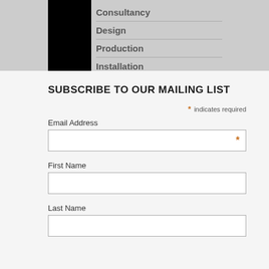[Figure (photo): Header area with dark/grey background image, a black square block on the left, and a navigation menu listing Consultancy, Design, Production, Installation with horizontal dividers.]
Consultancy
Design
Production
Installation
SUBSCRIBE TO OUR MAILING LIST
* indicates required
Email Address
First Name
Last Name